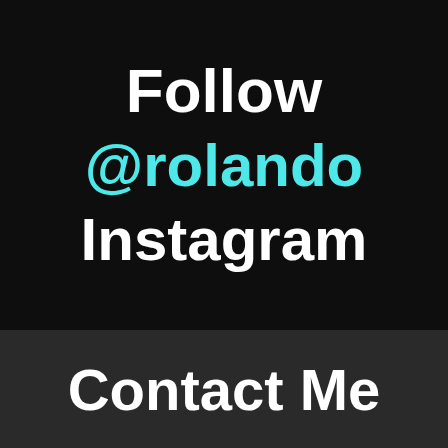Follow @rolando Instagram
Contact Me